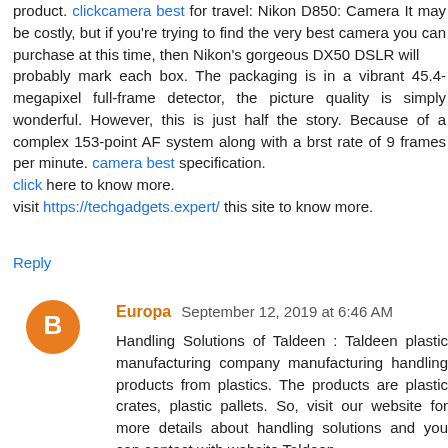product. clickcamera best for travel: Nikon D850: Camera It may be costly, but if you're trying to find the very best camera you can purchase at this time, then Nikon's gorgeous DX50 DSLR will probably mark each box. The packaging is in a vibrant 45.4-megapixel full-frame detector, the picture quality is simply wonderful. However, this is just half the story. Because of a complex 153-point AF system along with a brst rate of 9 frames per minute. camera best specification. click here to know more.
visit https://techgadgets.expert/ this site to know more.
Reply
Europa  September 12, 2019 at 6:46 AM
Handling Solutions of Taldeen : Taldeen plastic manufacturing company manufacturing handling products from plastics. The products are plastic crates, plastic pallets. So, visit our website for more details about handling solutions and you can contact with website Taldeen